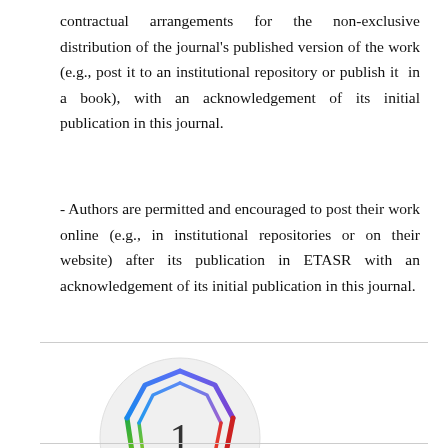contractual arrangements for the non-exclusive distribution of the journal's published version of the work (e.g., post it to an institutional repository or publish it in a book), with an acknowledgement of its initial publication in this journal.
- Authors are permitted and encouraged to post their work online (e.g., in institutional repositories or on their website) after its publication in ETASR with an acknowledgement of its initial publication in this journal.
[Figure (logo): Colorful polygon/gem logo with the number 1 in the center, inside a light gray circle. The polygon has a rainbow gradient outline from blue/purple at top to red on right to yellow/orange at bottom.]